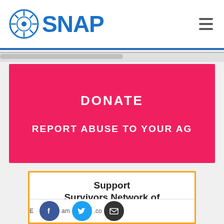SNAP
DONATE
REPORT ABUSE TO YOUR AG
Support Survivors Network of those Abused By Priests. When you shop at smile.amazon.com, Amazon donates.
SHARE